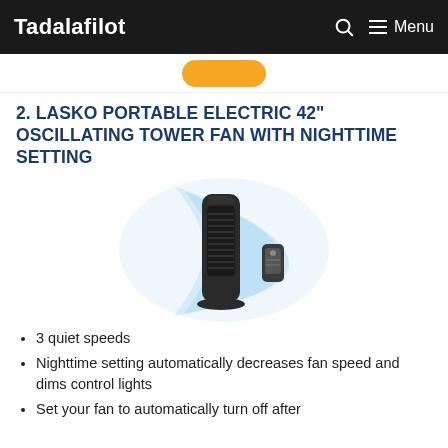Tadalafilot  🔍  ☰ Menu
[Figure (other): Orange rounded button (partially visible)]
2. LASKO PORTABLE ELECTRIC 42" OSCILLATING TOWER FAN WITH NIGHTTIME SETTING
[Figure (photo): Lasko 42-inch tower fan with remote control and blue airflow illustration]
3 quiet speeds
Nighttime setting automatically decreases fan speed and dims control lights
Set your fan to automatically turn off after